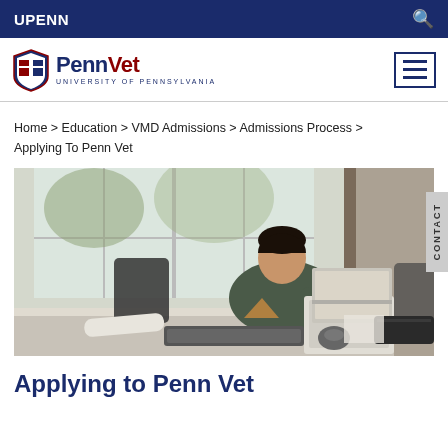UPENN
[Figure (logo): PennVet - University of Pennsylvania logo with shield emblem]
Home > Education > VMD Admissions > Admissions Process > Applying To Penn Vet
[Figure (photo): A male student sitting at a desk in a modern room with large windows, working on a laptop computer. A keyboard and other items are on the desk.]
Applying to Penn Vet